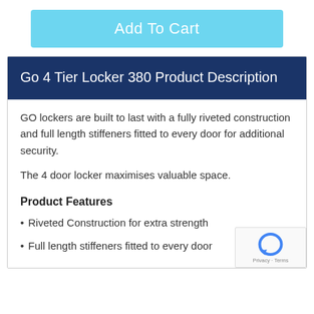[Figure (other): Light blue 'Add To Cart' button]
Go 4 Tier Locker 380 Product Description
GO lockers are built to last with a fully riveted construction and full length stiffeners fitted to every door for additional security.
The 4 door locker maximises valuable space.
Product Features
Riveted Construction for extra strength
Full length stiffeners fitted to every door